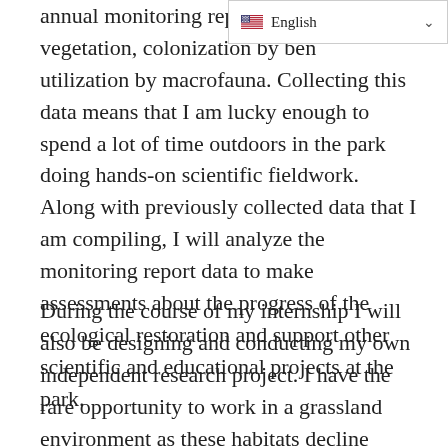[Figure (other): Language selector dropdown showing US flag and 'English' label with chevron]
annual monitoring report that fo vegetation, colonization by bent utilization by macrofauna. Collecting this data means that I am lucky enough to spend a lot of time outdoors in the park doing hands-on scientific fieldwork. Along with previously collected data that I am compiling, I will analyze the monitoring report data to make assessments about the progress of the ecological restoration and support other scientific and educational projects at the park.
During the course of my internship I will also be designing and conducting my own independent research project. I have the rare opportunity to work in a grassland environment as these habitats decline throughout the United States. My research project will involve comparing different grassland locations at Freshkills Park to assess the preferred habitat characteristics of grassland bird species as they return to the park. This research is particularly important at a time in which bird species that